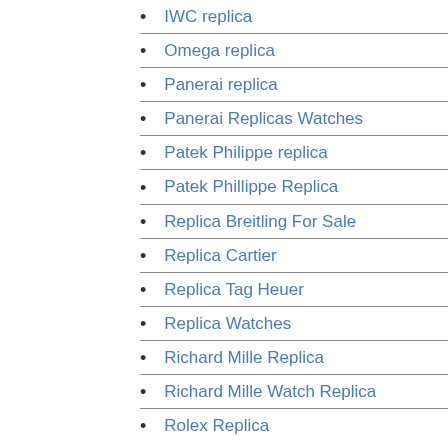IWC replica
Omega replica
Panerai replica
Panerai Replicas Watches
Patek Philippe replica
Patek Phillippe Replica
Replica Breitling For Sale
Replica Cartier
Replica Tag Heuer
Replica Watches
Richard Mille Replica
Richard Mille Watch Replica
Rolex Replica